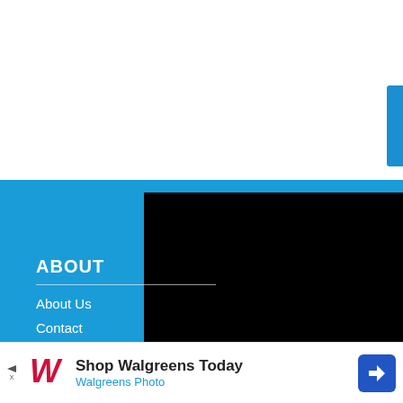[Figure (screenshot): White background top area of a webpage with a blue sidebar tab on the right edge]
[Figure (screenshot): Video ad player with black background showing 'Loading ad' text and spinning loader, with pause, expand, and mute controls]
ABOUT
About Us
Contact
Press & Media
[Figure (screenshot): Walgreens advertisement banner: 'Shop Walgreens Today / Walgreens Photo' with logo and navigation arrow icon]